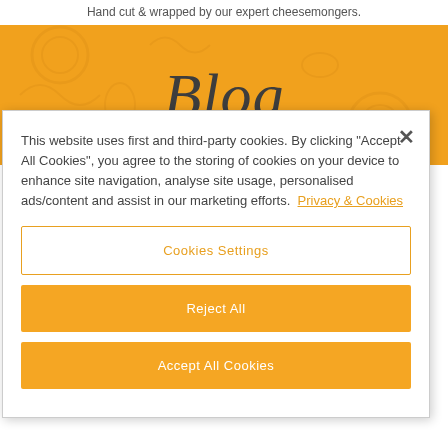Hand cut & wrapped by our expert cheesemongers.
[Figure (other): Orange decorative banner with italic 'Blog' text and floral background pattern]
This website uses first and third-party cookies. By clicking "Accept All Cookies", you agree to the storing of cookies on your device to enhance site navigation, analyse site usage, personalised ads/content and assist in our marketing efforts. Privacy & Cookies
Cookies Settings
Reject All
Accept All Cookies